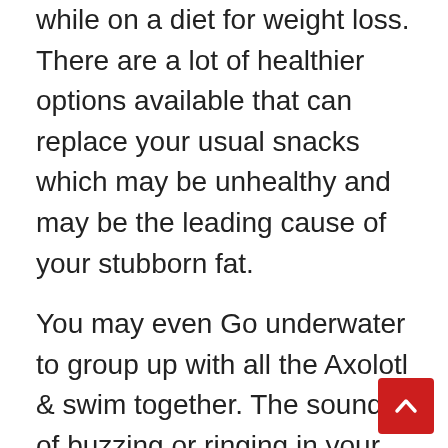while on a diet for weight loss. There are a lot of healthier options available that can replace your usual snacks which may be unhealthy and may be the leading cause of your stubborn fat.
You may even Go underwater to group up with all the Axolotl & swim together. The sound of buzzing or ringing in your ears in the absence of audible noise can be annoying. The symptom caused by a medical condition called tinnitus. Ear sounds may mimic noises, such as buzzing, ringing, clicking, hissing, clanging or wheezing. They can be present in one or both ears, constant or intermittent. Ear sounds are a common occurrence that can range in severity from being a nuisance to being a symptom of a medical emergency that should be evaluated immediately.